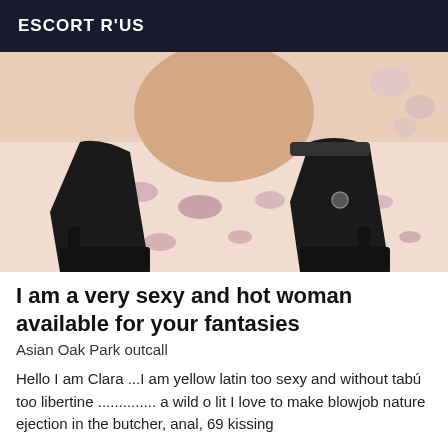ESCORT R'US
[Figure (photo): A person posing on a bed wearing black high-heeled boots and stockings, viewed from behind.]
I am a very sexy and hot woman available for your fantasies
Asian Oak Park outcall
Hello I am Clara ...I am yellow latin too sexy and without tabú too libertine ............. a wild o lit I love to make blowjob nature ejection in the butcher, anal, 69 kissing